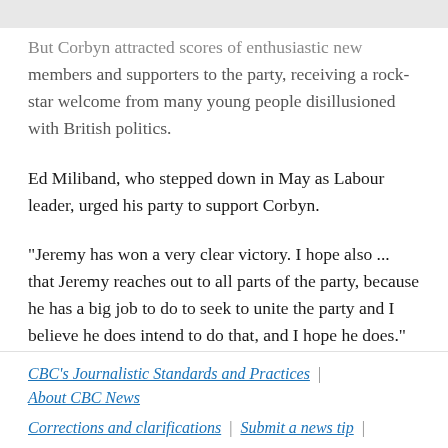But Corbyn attracted scores of enthusiastic new members and supporters to the party, receiving a rock-star welcome from many young people disillusioned with British politics.
Ed Miliband, who stepped down in May as Labour leader, urged his party to support Corbyn.
"Jeremy has won a very clear victory. I hope also ... that Jeremy reaches out to all parts of the party, because he has a big job to do to seek to unite the party and I believe he does intend to do that, and I hope he does."
CBC's Journalistic Standards and Practices | About CBC News
Corrections and clarifications | Submit a news tip |